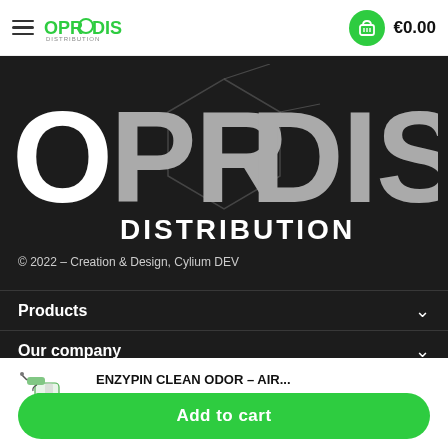OPRODIS | €0.00
[Figure (logo): OPRODIS DISTRIBUTION large white text on dark background with hexagon graphic]
© 2022 – Creation & Design, Cylium DEV
Products
Our company
By browsing this site, you automatically accept
ENZYPIN CLEAN ODOR – AIR...
€9.90
Add to cart